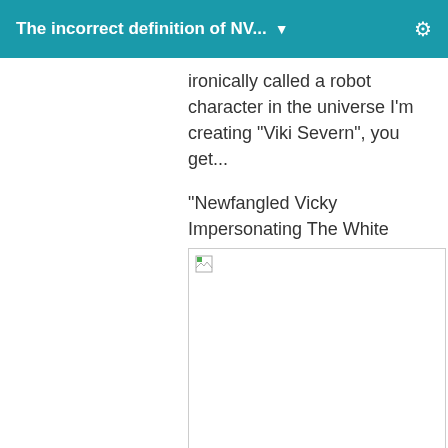The incorrect definition of NV... ▼
ironically called a robot character in the universe I'm creating "Viki Severn", you get...

"Newfangled Vicky Impersonating The White Stripes".
[Figure (photo): Broken/missing image placeholder with a small image icon in the top-left corner]